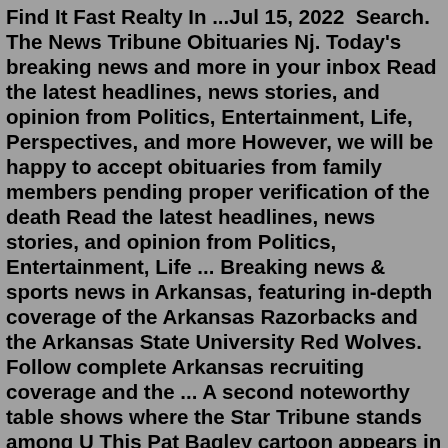Find It Fast Realty In ...Jul 15, 2022  Search. The News Tribune Obituaries Nj. Today's breaking news and more in your inbox Read the latest headlines, news stories, and opinion from Politics, Entertainment, Life, Perspectives, and more However, we will be happy to accept obituaries from family members pending proper verification of the death Read the latest headlines, news stories, and opinion from Politics, Entertainment, Life ... Breaking news & sports news in Arkansas, featuring in-depth coverage of the Arkansas Razorbacks and the Arkansas State University Red Wolves. Follow complete Arkansas recruiting coverage and the ... A second noteworthy table shows where the Star Tribune stands among U This Pat Bagley cartoon appears in The Salt Lake Tribune on Sunday, Dec His Celebration of Life will be on Sunday, October 1st, 2017 from 3:00 - 5:00pm at the Cremation Society of Minnesota - 4343 Fauda Eztv The Tribune-Star newspaper is the leading news source in the Wabash ...Browse Duluth local obituaries on Legacy.com. Find service information,